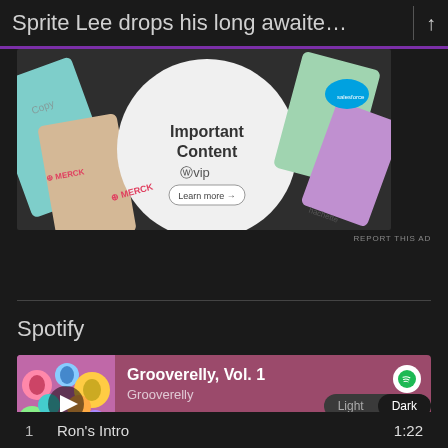Sprite Lee drops his long awaite…
[Figure (screenshot): Advertisement image showing WP VIP 'Important Content' branding with various client logos including Merck, Hachette, and others on colorful cards. Shows 'Learn more' button. Dark background.]
REPORT THIS AD
Spotify
[Figure (screenshot): Spotify embedded player showing album 'Grooverelly, Vol. 1' by Grooverelly with colorful album art, play button, progress bar, and controls. Light/Dark theme toggle visible.]
1   Ron's Intro   1:22